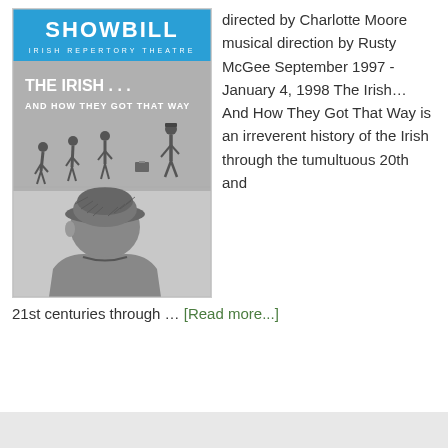[Figure (illustration): Showbill magazine cover for Irish Repertory Theatre. Blue header reading 'SHOWBILL' with subtitle 'IRISH REPERTORY THEATRE'. Below is a black and white illustration titled 'THE IRISH... AND HOW THEY GOT THAT WAY' showing silhouettes of figures walking and a man with a cap viewed from behind.]
directed by Charlotte Moore musical direction by Rusty McGee September 1997 - January 4, 1998 The Irish... And How They Got That Way is an irreverent history of the Irish through the tumultuous 20th and 21st centuries through … [Read more...]